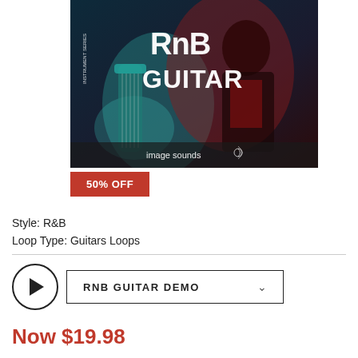[Figure (illustration): Album cover for 'RNB Guitar' by Image Sounds – Instrument Series. Dark stylized artwork featuring a guitarist with bold white text 'RNB GUITAR' and 'image sounds' logo at the bottom.]
50% OFF
Style: R&B
Loop Type: Guitars Loops
RNB GUITAR DEMO
Now $19.98